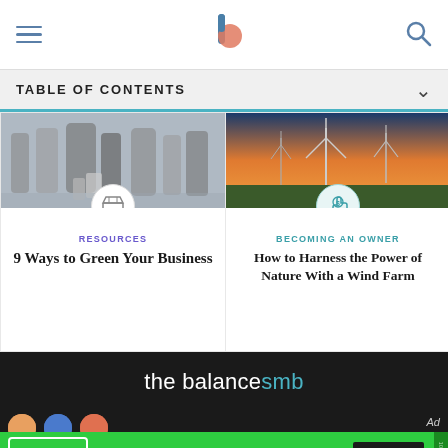The Balance SMB navigation bar with hamburger menu, logo, and search icon
TABLE OF CONTENTS
[Figure (photo): Blurred crowd of people walking with luggage, street scene]
RESOURCES
9 Ways to Green Your Business
[Figure (photo): Wind turbines at sunset over flat landscape]
BECOMING AN OWNER
How to Harness the Power of Nature With a Wind Farm
[Figure (logo): the balance smb logo in white on dark background]
[Figure (photo): Partial circular images at bottom of dark section]
[Figure (other): IDRV from iShares advertisement - THE SELF-DRIVING EV & TECH ETF, LEARN MORE, Fidelity]